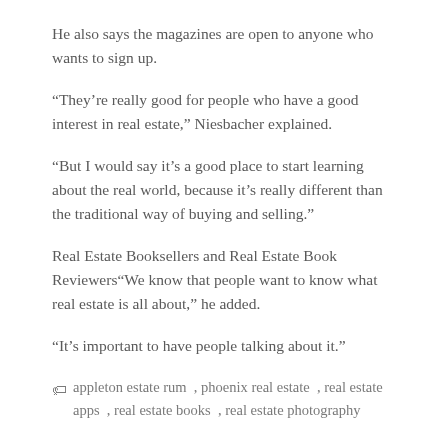He also says the magazines are open to anyone who wants to sign up.
“They’re really good for people who have a good interest in real estate,” Niesbacher explained.
“But I would say it’s a good place to start learning about the real world, because it’s really different than the traditional way of buying and selling.”
Real Estate Booksellers and Real Estate Book Reviewers“We know that people want to know what real estate is all about,” he added.
“It’s important to have people talking about it.”
appleton estate rum , phoenix real estate , real estate apps , real estate books , real estate photography